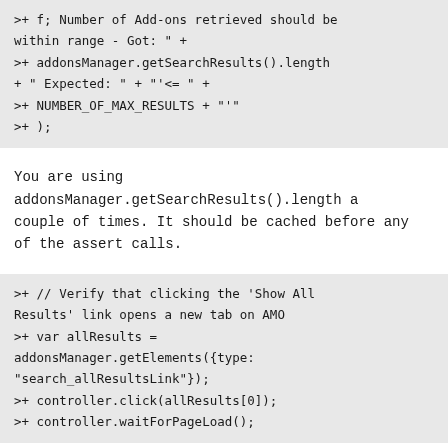>+ f; Number of Add-ons retrieved should be within range - Got: " +
>+      addonsManager.getSearchResults().length
+ " Expected: " + "'<= " +
>+      NUMBER_OF_MAX_RESULTS + "'"
>+  );
You are using addonsManager.getSearchResults().length a couple of times. It should be cached before any of the assert calls.
>+  // Verify that clicking the 'Show All Results' link opens a new tab on AMO
>+  var allResults =
addonsManager.getElements({type:
"search_allResultsLink"});
>+  controller.click(allResults[0]);
>+  controller.waitForPageLoad();